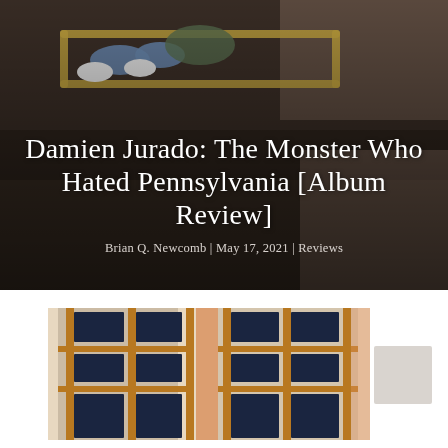[Figure (photo): Overhead/tilted photograph of a person lying on a bunk bed or metal frame, wearing jeans and white sneakers, green shirt, dark industrial background]
Damien Jurado: The Monster Who Hated Pennsylvania [Album Review]
Brian Q. Newcomb | May 17, 2021 | Reviews
[Figure (photo): Photograph of architectural interior with tall wooden-framed windows with blue/dark glass panes, warm amber/orange lighting, tilted perspective]